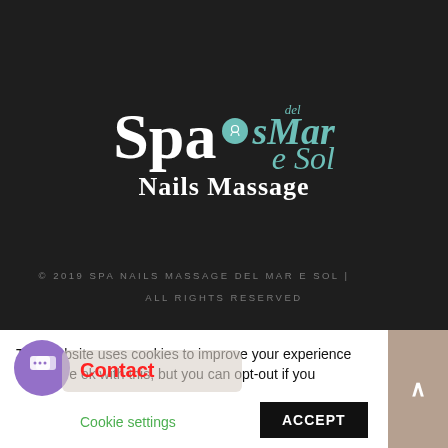[Figure (logo): Spa Nails Massage Del Mar e Sol logo on dark background. Large white serif 'Spa' text with teal script 'del Mar e Sol' beside it, and 'Nails Massage' in white below.]
© 2019 SPA NAILS MASSAGE DEL MAR E SOL | ALL RIGHTS RESERVED
This website uses cookies to improve your experience. We're ok with this, but you can opt-out if you wish.
Cookie settings
ACCEPT
Contact